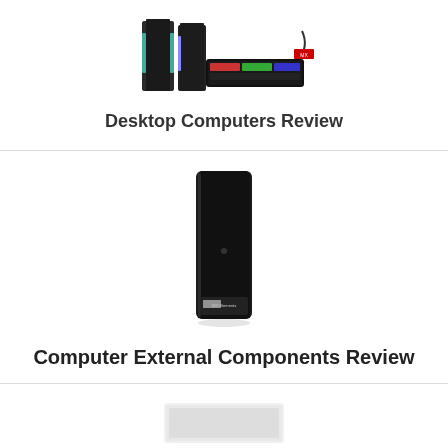[Figure (photo): Gaming desktop computer with RGB keyboard and peripherals, partially visible at top of page]
Desktop Computers Review
[Figure (photo): Black external hard drive (WD Elements desktop external HDD), tall vertical form factor]
Computer External Components Review
[Figure (photo): White device partially visible at bottom of page, likely a laptop or tablet]